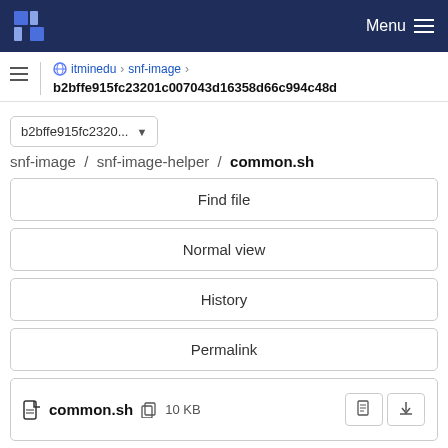Menu
itminedu > snf-image > b2bffe915fc23201c007043d16358d66c994c48d
b2bffe915fc2320...
snf-image / snf-image-helper / common.sh
Find file
Normal view
History
Permalink
common.sh  10 KB